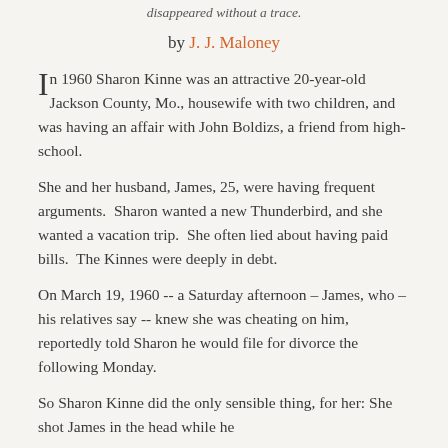disappeared without a trace.
by J. J. Maloney
In 1960 Sharon Kinne was an attractive 20-year-old Jackson County, Mo., housewife with two children, and was having an affair with John Boldizs, a friend from high-school.
She and her husband, James, 25, were having frequent arguments.  Sharon wanted a new Thunderbird, and she wanted a vacation trip.  She often lied about having paid bills.  The Kinnes were deeply in debt.
On March 19, 1960 -- a Saturday afternoon – James, who – his relatives say -- knew she was cheating on him, reportedly told Sharon he would file for divorce the following Monday.
So Sharon Kinne did the only sensible thing, for her: She shot James in the head while he